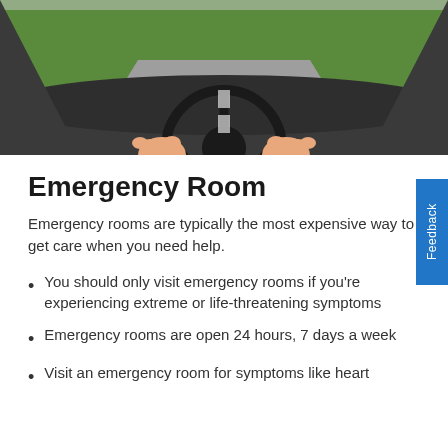[Figure (illustration): Illustration of a driver's view from behind the steering wheel, with hands gripping the wheel, a road visible ahead, and green and gray background]
Emergency Room
Emergency rooms are typically the most expensive way to get care when you need help.
You should only visit emergency rooms if you're experiencing extreme or life-threatening symptoms
Emergency rooms are open 24 hours, 7 days a week
Visit an emergency room for symptoms like heart